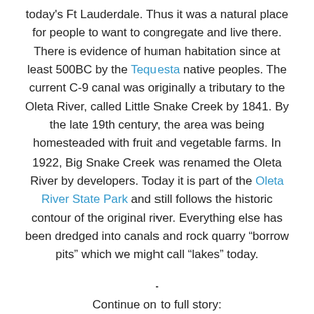today's Ft Lauderdale. Thus it was a natural place for people to want to congregate and live there. There is evidence of human habitation since at least 500BC by the Tequesta native peoples. The current C-9 canal was originally a tributary to the Oleta River, called Little Snake Creek by 1841. By the late 19th century, the area was being homesteaded with fruit and vegetable farms. In 1922, Big Snake Creek was renamed the Oleta River by developers. Today it is part of the Oleta River State Park and still follows the historic contour of the original river. Everything else has been dredged into canals and rock quarry “borrow pits” which we might call “lakes” today.
.
Continue on to full story: